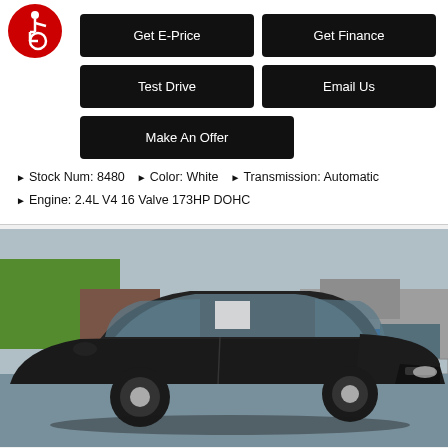[Figure (logo): Red circular accessibility icon with white wheelchair user symbol]
Get E-Price
Get Finance
Test Drive
Email Us
Make An Offer
Stock Num: 8480  ▶ Color: White  ▶ Transmission: Automatic
Engine: 2.4L V4 16 Valve 173HP DOHC
[Figure (photo): Black Dodge Charger sedan parked in a lot with commercial buildings and trees in the background]